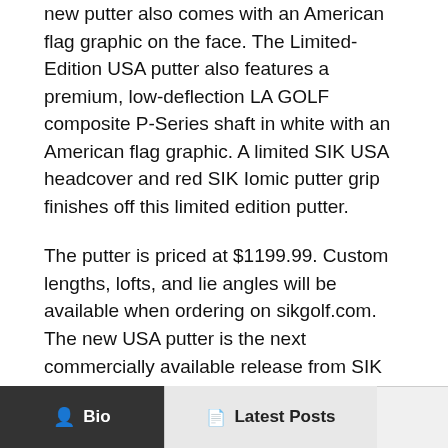new putter also comes with an American flag graphic on the face. The Limited-Edition USA putter also features a premium, low-deflection LA GOLF composite P-Series shaft in white with an American flag graphic. A limited SIK USA headcover and red SIK Iomic putter grip finishes off this limited edition putter.
The putter is priced at $1199.99. Custom lengths, lofts, and lie angles will be available when ordering on sikgolf.com. The new USA putter is the next commercially available release from SIK Golf's Custom Works department.
Visit SIK Golf HERE
Bio  Latest Posts